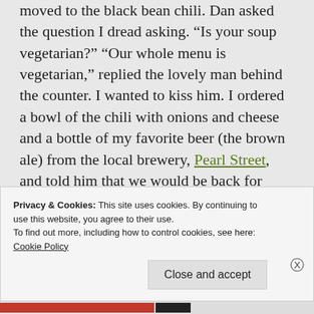moved to the black bean chili. Dan asked the question I dread asking. “Is your soup vegetarian?” “Our whole menu is vegetarian,” replied the lovely man behind the counter. I wanted to kiss him. I ordered a bowl of the chili with onions and cheese and a bottle of my favorite beer (the brown ale) from the local brewery, Pearl Street, and told him that we would be back for breakfast. The music that night at La Bodega by Gregg “Cheech” Hall and Dan made me tap my foot a little longer and
Privacy & Cookies: This site uses cookies. By continuing to use this website, you agree to their use.
To find out more, including how to control cookies, see here: Cookie Policy
Close and accept